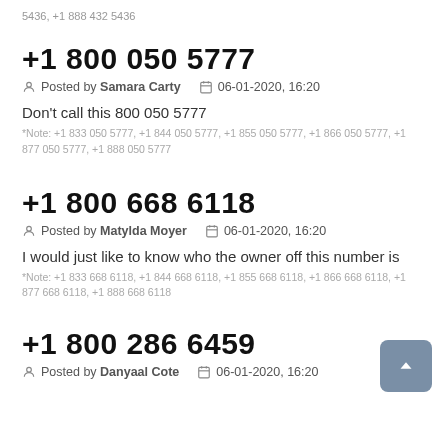5436, +1 888 432 5436
+1 800 050 5777
Posted by Samara Carty   06-01-2020, 16:20
Don't call this 800 050 5777
*Note: +1 833 050 5777, +1 844 050 5777, +1 855 050 5777, +1 866 050 5777, +1 877 050 5777, +1 888 050 5777
+1 800 668 6118
Posted by Matylda Moyer   06-01-2020, 16:20
I would just like to know who the owner off this number is
*Note: +1 833 668 6118, +1 844 668 6118, +1 855 668 6118, +1 866 668 6118, +1 877 668 6118, +1 888 668 6118
+1 800 286 6459
Posted by Danyaal Cote   06-01-2020, 16:20